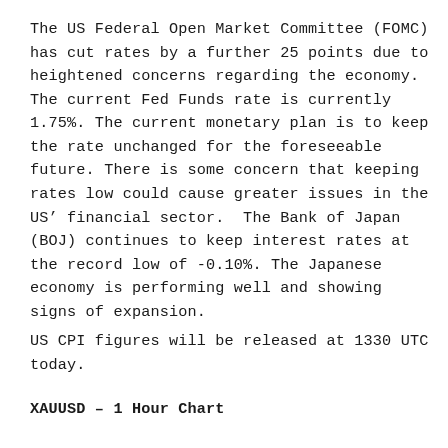The US Federal Open Market Committee (FOMC) has cut rates by a further 25 points due to heightened concerns regarding the economy. The current Fed Funds rate is currently 1.75%. The current monetary plan is to keep the rate unchanged for the foreseeable future. There is some concern that keeping rates low could cause greater issues in the US’ financial sector.  The Bank of Japan (BOJ) continues to keep interest rates at the record low of -0.10%. The Japanese economy is performing well and showing signs of expansion.
US CPI figures will be released at 1330 UTC today.
XAUUSD – 1 Hour Chart